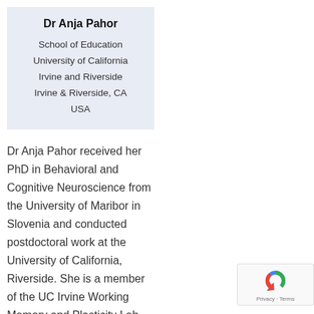Dr Anja Pahor
School of Education
University of California
Irvine and Riverside
Irvine & Riverside, CA
USA
Dr Anja Pahor received her PhD in Behavioral and Cognitive Neuroscience from the University of Maribor in Slovenia and conducted postdoctoral work at the University of California, Riverside. She is a member of the UC Irvine Working Memory and Plasticity Lab, where she works as a Project